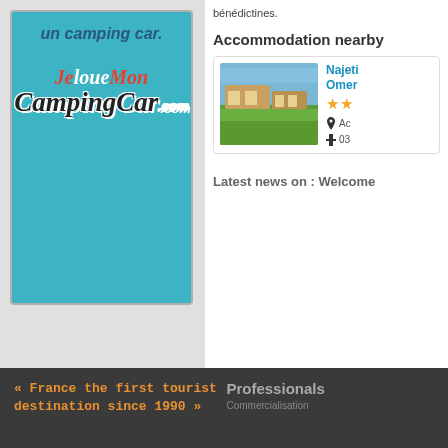[Figure (illustration): Advertisement for JeLoueMonCampingCar.com on teal background with logo text and italic header text 'un camping car.']
bénédictines.
Accommodation nearby
[Figure (photo): Photo of a building with green lawn and blue sky]
Najeti
Omer
★★
Ac
03
Latest news on : Welcome
« France the first tourist destination since 1990 »
Professionals
Commercialisation